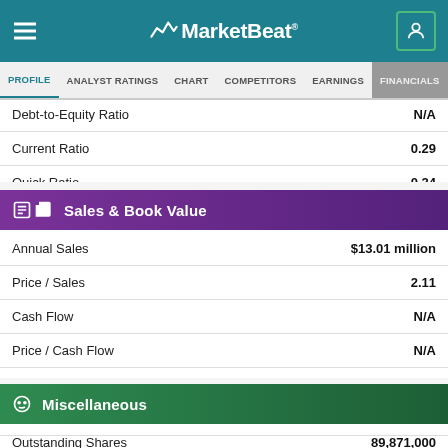MarketBeat
PROFILE | ANALYST RATINGS | CHART | COMPETITORS | EARNINGS | FINANCIALS
| Metric | Value |
| --- | --- |
| Debt-to-Equity Ratio | N/A |
| Current Ratio | 0.29 |
| Quick Ratio | 0.24 |
Sales & Book Value
| Metric | Value |
| --- | --- |
| Annual Sales | $13.01 million |
| Price / Sales | 2.11 |
| Cash Flow | N/A |
| Price / Cash Flow | N/A |
| Book Value | ($0.11) per share |
| Price / Book | -2.77 |
Miscellaneous
| Metric | Value |
| --- | --- |
| Outstanding Shares | 89,871,000 |